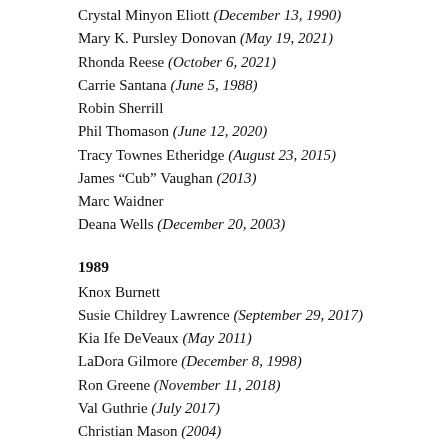Crystal Minyon Eliott (December 13, 1990)
Mary K. Pursley Donovan (May 19, 2021)
Rhonda Reese (October 6, 2021)
Carrie Santana (June 5, 1988)
Robin Sherrill
Phil Thomason (June 12, 2020)
Tracy Townes Etheridge (August 23, 2015)
James “Cub” Vaughan (2013)
Marc Waidner
Deana Wells (December 20, 2003)
1989
Knox Burnett
Susie Childrey Lawrence (September 29, 2017)
Kia Ife DeVeaux (May 2011)
LaDora Gilmore (December 8, 1998)
Ron Greene (November 11, 2018)
Val Guthrie (July 2017)
Christian Mason (2004)